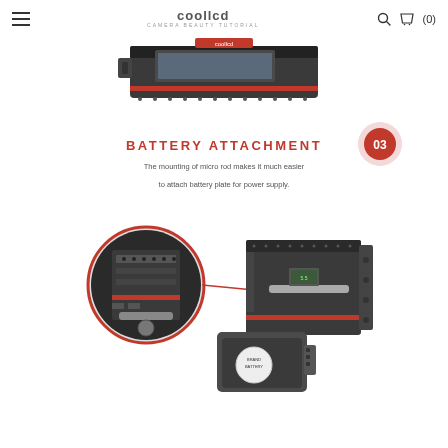coollcd (0)
[Figure (photo): Top portion of a camera cage/rig product shown from a low angle, cropped at top of page]
BATTERY ATTACHMENT
The mounting of micro rod makes it much easier to attach battery plate for power supply.
[Figure (photo): Product detail image showing battery attachment mechanism with a zoomed inset circle highlighting micro rod mounting area, connected by a red line to the full product view showing battery plate attachment]